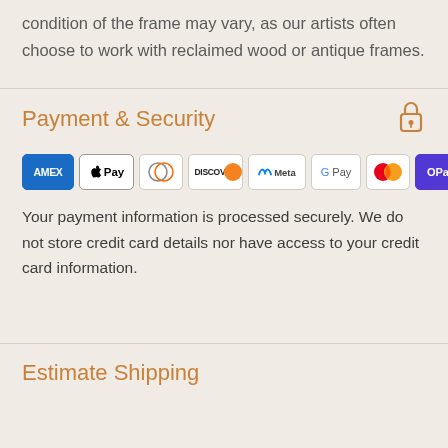condition of the frame may vary, as our artists often choose to work with reclaimed wood or antique frames.
Payment & Security
[Figure (illustration): Lock/security icon in golden-brown color]
[Figure (illustration): Payment method icons: Amex, Apple Pay, Diners Club, Discover, Meta Pay, Google Pay, Mastercard, OPay, Visa]
Your payment information is processed securely. We do not store credit card details nor have access to your credit card information.
Estimate Shipping